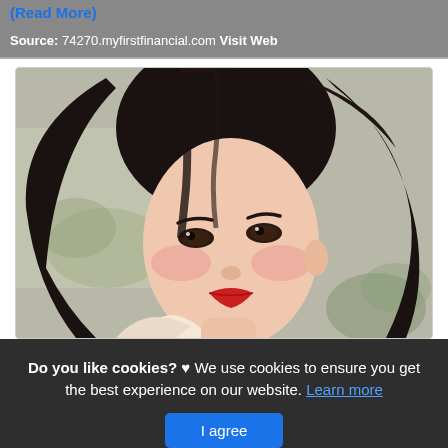(Read More)
Source: 74270.myfirstfinancial.com Visit Web
[Figure (photo): Portrait photo of a young woman with long black hair, red lipstick, and rosy cheeks, wearing a light-colored top, photographed indoors.]
Do you like cookies? ♥ We use cookies to ensure you get the best experience on our website. Learn more
I agree